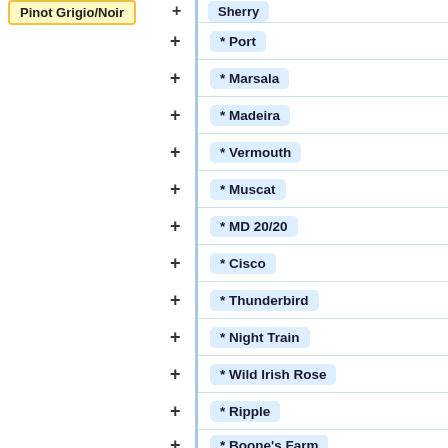Pinot Grigio/Noir
* Sherry
* Port
* Marsala
* Madeira
* Vermouth
* Muscat
* MD 20/20
* Cisco
* Thunderbird
* Night Train
* Wild Irish Rose
* Ripple
* Boone's Farm